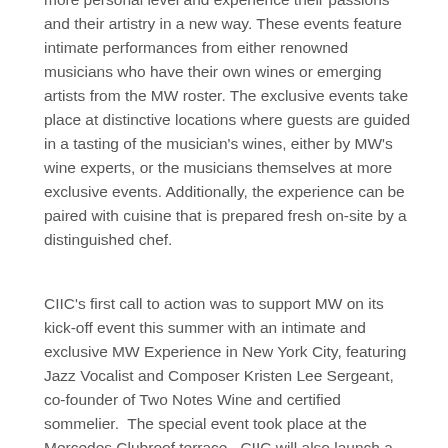more personal level and experience their passions and their artistry in a new way. These events feature intimate performances from either renowned musicians who have their own wines or emerging artists from the MW roster. The exclusive events take place at distinctive locations where guests are guided in a tasting of the musician's wines, either by MW's wine experts, or the musicians themselves at more exclusive events. Additionally, the experience can be paired with cuisine that is prepared fresh on-site by a distinguished chef.
CIIC's first call to action was to support MW on its kick-off event this summer with an intimate and exclusive MW Experience in New York City, featuring Jazz Vocalist and Composer Kristen Lee Sergeant, co-founder of Two Notes Wine and certified sommelier.  The special event took place at the Mercedes Clubroof terrace.  CIIC will also launch a creative PR and marketing campaign including and times with...